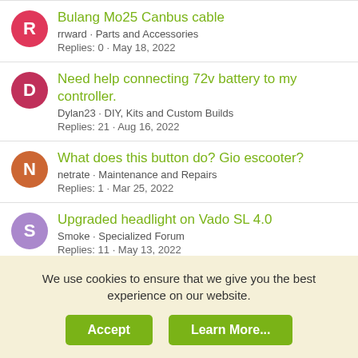Bulang Mo25 Canbus cable
rrward · Parts and Accessories
Replies: 0 · May 18, 2022
Need help connecting 72v battery to my controller.
Dylan23 · DIY, Kits and Custom Builds
Replies: 21 · Aug 16, 2022
What does this button do? Gio escooter?
netrate · Maintenance and Repairs
Replies: 1 · Mar 25, 2022
Upgraded headlight on Vado SL 4.0
Smoke · Specialized Forum
Replies: 11 · May 13, 2022
Share:
We use cookies to ensure that we give you the best experience on our website.